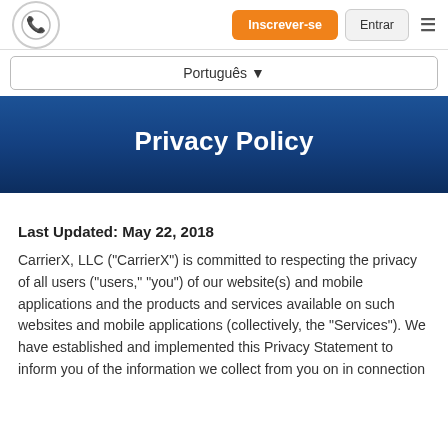Inscrever-se | Entrar
Português
Privacy Policy
Last Updated: May 22, 2018
CarrierX, LLC ("CarrierX") is committed to respecting the privacy of all users (“users,” “you”) of our website(s) and mobile applications and the products and services available on such websites and mobile applications (collectively, the “Services”). We have established and implemented this Privacy Statement to inform you of the information we collect from you on in connection